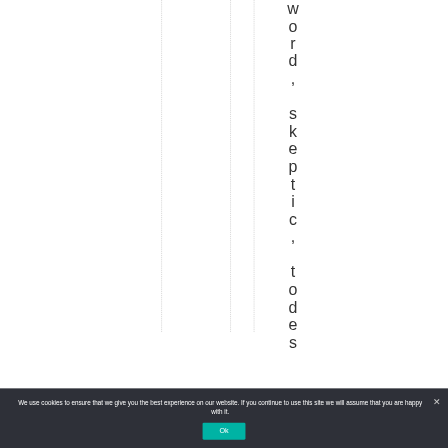word, skeptic, todes
We use cookies to ensure that we give you the best experience on our website. If you continue to use this site we will assume that you are happy with it.